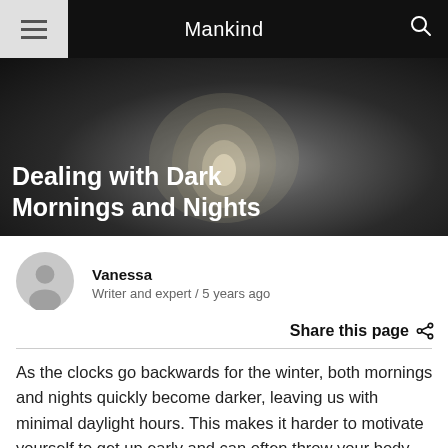Mankind
[Figure (photo): Dark hero image with a light bulb on a dark background, overlaid with the article title 'Dealing with Dark Mornings and Nights']
Dealing with Dark Mornings and Nights
Vanessa
Writer and expert / 5 years ago
Share this page
As the clocks go backwards for the winter, both mornings and nights quickly become darker, leaving us with minimal daylight hours. This makes it harder to motivate yourself to get up early and can often throw your body clock completely off. Below, discover some of our top tips to guide you on how to deal with dark mornings and nights.